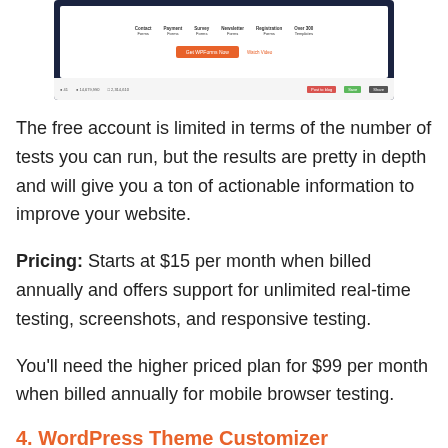[Figure (screenshot): Screenshot of WPForms website showing navigation with Contact Forms, Payment Forms, Survey Forms, Newsletter Forms, Registration Forms, Over 300 Templates, and a Get WPForms Now orange button with Watch Video link]
The free account is limited in terms of the number of tests you can run, but the results are pretty in depth and will give you a ton of actionable information to improve your website.
Pricing: Starts at $15 per month when billed annually and offers support for unlimited real-time testing, screenshots, and responsive testing.
You'll need the higher priced plan for $99 per month when billed annually for mobile browser testing.
4. WordPress Theme Customizer